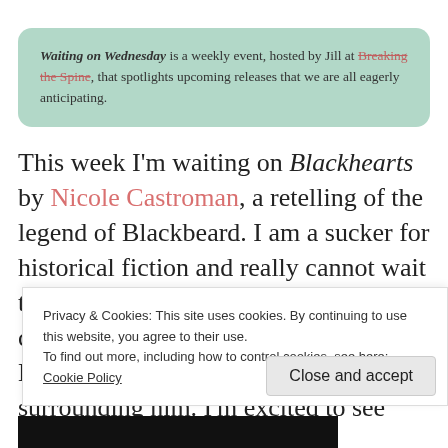Waiting on Wednesday is a weekly event, hosted by Jill at Breaking the Spine, that spotlights upcoming releases that we are all eagerly anticipating.
This week I'm waiting on Blackhearts by Nicole Castroman, a retelling of the legend of Blackbeard. I am a sucker for historical fiction and really cannot wait to see where the author takes the characters. I love the history behind Blackbeard along with all the myth surrounding him. I'm excited to see him in a romantic
Privacy & Cookies: This site uses cookies. By continuing to use this website, you agree to their use.
To find out more, including how to control cookies, see here: Cookie Policy
Close and accept